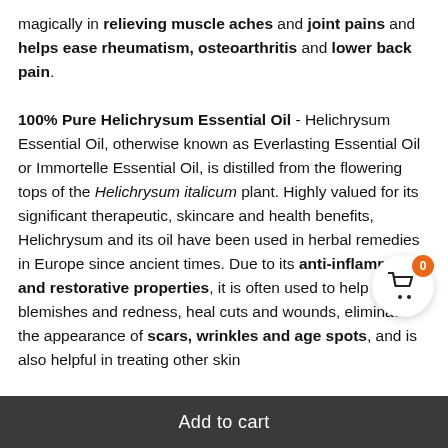magically in relieving muscle aches and joint pains and helps ease rheumatism, osteoarthritis and lower back pain. 100% Pure Helichrysum Essential Oil - Helichrysum Essential Oil, otherwise known as Everlasting Essential Oil or Immortelle Essential Oil, is distilled from the flowering tops of the Helichrysum italicum plant. Highly valued for its significant therapeutic, skincare and health benefits, Helichrysum and its oil have been used in herbal remedies in Europe since ancient times. Due to its anti-inflammatory and restorative properties, it is often used to help reduce blemishes and redness, heal cuts and wounds, eliminate the appearance of scars, wrinkles and age spots, and is also helpful in treating other skin
Add to cart